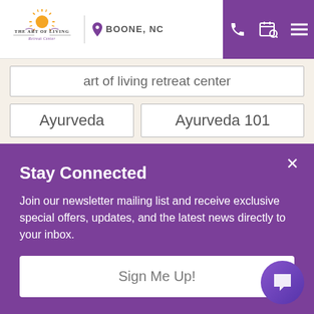[Figure (logo): The Art of Living Retreat Center logo with sun graphic]
BOONE, NC
art of living retreat center
Ayurveda
Ayurveda 101
ayurveda cleanse
ayurveda detox
Ayurvedic diet
Ayurvedic Recipes
Stay Connected
Join our newsletter mailing list and receive exclusive special offers, updates, and the latest news directly to your inbox.
Sign Me Up!